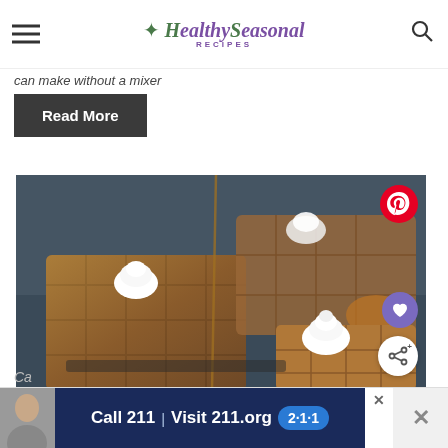Healthy Seasonal Recipes
can make without a mixer
Read More
[Figure (photo): Close-up food photography of golden Belgian waffles topped with whipped cream, with syrup being poured from above, on a dark background. Side dishes visible in background.]
Ca
[Figure (other): Advertisement banner: Call 211 | Visit 211.org with 2-1-1 badge logo. Person thumbnail on left, close button on right.]